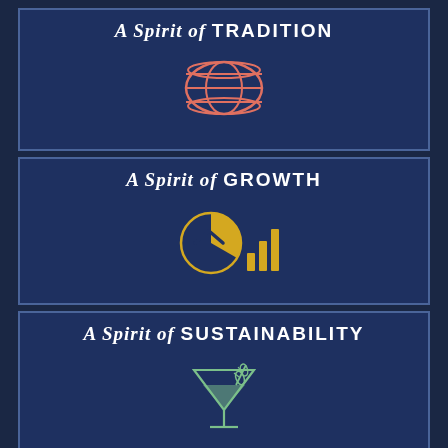[Figure (illustration): Panel 1: A Spirit of TRADITION with a barrel icon in coral/salmon outline style on dark navy background]
[Figure (illustration): Panel 2: A Spirit of GROWTH with a pie chart and bar chart combined icon in golden yellow on dark navy background]
[Figure (illustration): Panel 3: A Spirit of SUSTAINABILITY with a martini glass and wheat/leaf icon in sage green on dark navy background]